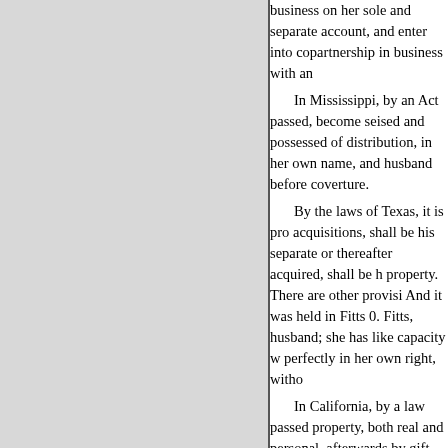business on her sole and separate account, and enter into copartnership in business with an
In Mississippi, by an Act passed, become seised and possessed of distribution, in her own name, and husband before coverture.
By the laws of Texas, it is provided acquisitions, shall be his separate or thereafter acquired, shall be her property. There are other provisions And it was held in Fitts 0. Fitts, husband; she has like capacity w perfectly in her own right, witho
In California, by a law passed property, both real and personal, afterwards by gift, bequest, devis the marriage by either husband o is common property. The rents a common property. No estate is a dower. Upon the dissolution of th common property goes to the su wife, subject to the payment of th